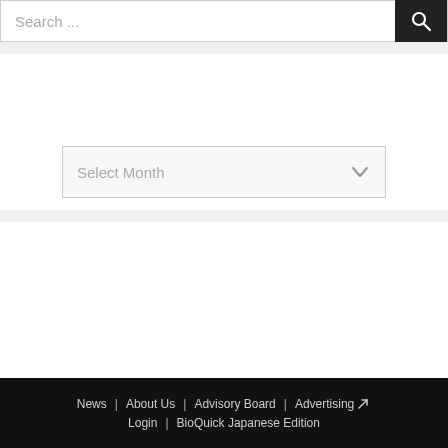Search ...
Archives
Select Month
News | About Us | Advisory Board | Advertising | Login | BioQuick Japanese Edition